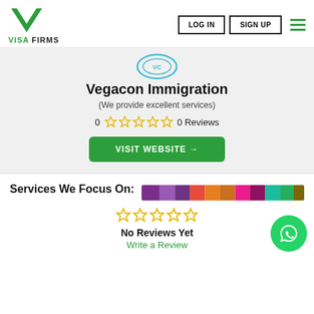[Figure (logo): Visa Firms logo with green diamond/chevron icon and text VISA FIRMS]
Vegacon Immigration
(We provide excellent services)
0  ☆☆☆☆☆  0 Reviews
VISIT WEBSITE →
Services We Focus On:
[Figure (infographic): Colorful horizontal bar with multiple color segments: purple, violet, dark purple, red, orange, dark orange, pink, dark pink, teal, green, olive]
☆☆☆☆☆
No Reviews Yet
Write a Review
[Figure (logo): WhatsApp green circle button with phone icon]